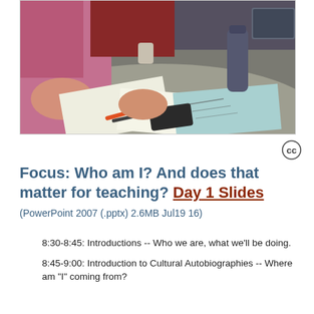[Figure (photo): People sitting around a round table writing and drawing, with papers, markers, a phone, a water bottle, and a tablet visible on the table surface.]
Focus: Who am I? And does that matter for teaching? Day 1 Slides (PowerPoint 2007 (.pptx) 2.6MB Jul19 16)
8:30-8:45: Introductions -- Who we are, what we'll be doing.
8:45-9:00: Introduction to Cultural Autobiographies -- Where am "I" coming from?